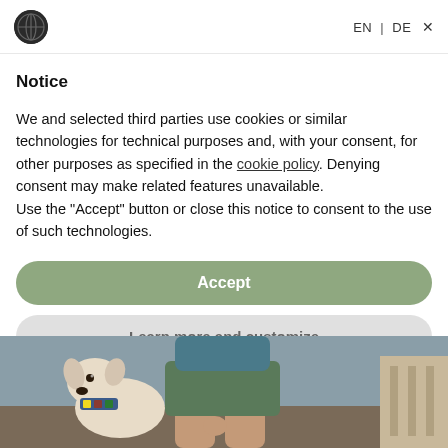EN | DE ×
Notice
We and selected third parties use cookies or similar technologies for technical purposes and, with your consent, for other purposes as specified in the cookie policy. Denying consent may make related features unavailable.
Use the "Accept" button or close this notice to consent to the use of such technologies.
Accept
Learn more and customize
[Figure (photo): Photo of a person sitting with a dog wearing a plaid bandana collar, indoors]